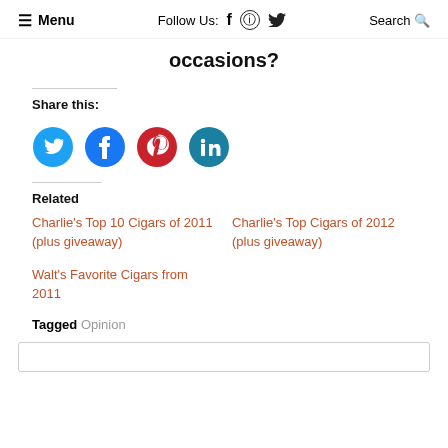≡ Menu  Follow Us: f ⊙ 𝒕  Search 🔍
occasions?
Share this:
[Figure (other): Social share buttons: Twitter (blue), Facebook (dark blue), Pinterest (red), LinkedIn (teal)]
Related
Charlie's Top 10 Cigars of 2011 (plus giveaway)
Charlie's Top Cigars of 2012 (plus giveaway)
Walt's Favorite Cigars from 2011
Tagged  Opinion